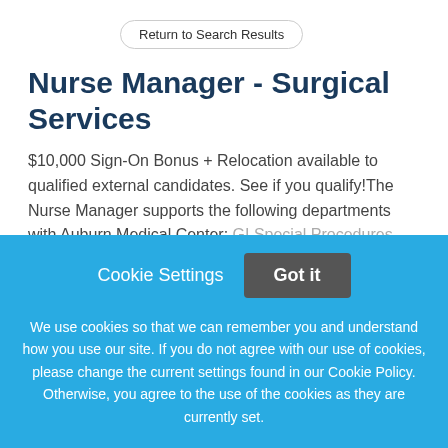Return to Search Results
Nurse Manager - Surgical Services
$10,000 Sign-On Bonus + Relocation available to qualified external candidates. See if you qualify!The Nurse Manager supports the following departments with Auburn Medical Center: GI Special Procedures, Operating Room, OP/SS
This job listing is no longer active.
Cookie Settings
Got it
We use cookies so that we can remember you and understand how you use our site. If you do not agree with our use of cookies, please change the current settings found in our Cookie Policy. Otherwise, you agree to the use of the cookies as they are currently set.